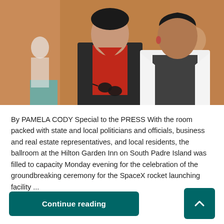[Figure (photo): Two people posing for a photo indoors at an event. A man in a dark pinstripe suit with a red shirt stands on the left, and a woman in a white blazer stands on the right. Several people are visible in the background in what appears to be a large event hall.]
By PAMELA CODY Special to the PRESS With the room packed with state and local politicians and officials, business and real estate representatives, and local residents, the ballroom at the Hilton Garden Inn on South Padre Island was filled to capacity Monday evening for the celebration of the groundbreaking ceremony for the SpaceX rocket launching facility ...